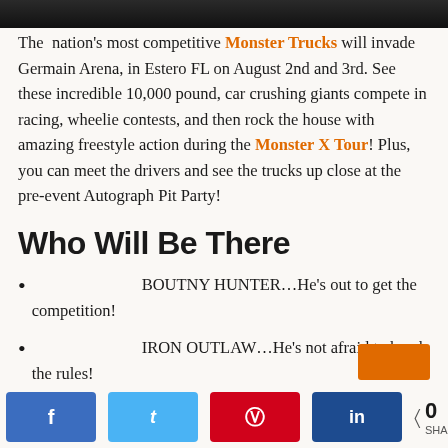[Figure (photo): Top portion of a monster truck event photo, dark background with vehicle]
The nation's most competitive Monster Trucks will invade Germain Arena, in Estero FL on August 2nd and 3rd. See these incredible 10,000 pound, car crushing giants compete in racing, wheelie contests, and then rock the house with amazing freestyle action during the Monster X Tour! Plus, you can meet the drivers and see the trucks up close at the pre-event Autograph Pit Party!
Who Will Be There
BOUTNY HUNTER…He's out to get the competition!
IRON OUTLAW…He's not afraid to break the rules!
Social share bar with Facebook, Twitter, Pinterest, LinkedIn buttons and 0 SHARES